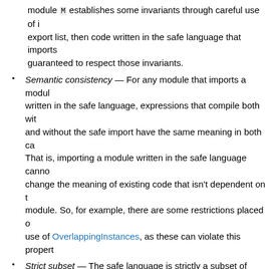module M establishes some invariants through careful use of its export list, then code written in the safe language that imports it is guaranteed to respect those invariants.
Semantic consistency — For any module that imports a module written in the safe language, expressions that compile both with and without the safe import have the same meaning in both cases. That is, importing a module written in the safe language cannot change the meaning of existing code that isn't dependent on that module. So, for example, there are some restrictions placed on use of OverlappingInstances, as these can violate this property.
Strict subset — The safe language is strictly a subset of Haskell implemented by GHC. Any expression that compiles in the safe language has the same meaning as it does when compiled in normal Haskell.
These four properties guarantee that in the safe language you can trust the types, can trust that module export lists are respected, and can trust that code that successfully compiles has the same meaning as it normally would.
To achieve these properties, in the safe language dialect we disable completely the following features: